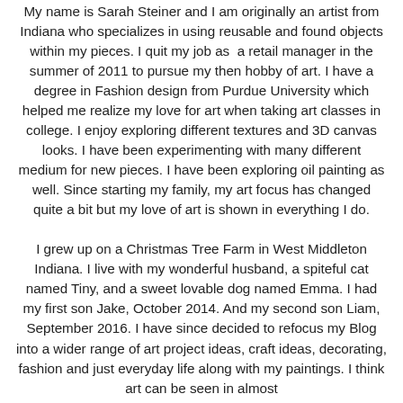My name is Sarah Steiner and I am originally an artist from Indiana who specializes in using reusable and found objects within my pieces. I quit my job as a retail manager in the summer of 2011 to pursue my then hobby of art. I have a degree in Fashion design from Purdue University which helped me realize my love for art when taking art classes in college. I enjoy exploring different textures and 3D canvas looks. I have been experimenting with many different medium for new pieces. I have been exploring oil painting as well. Since starting my family, my art focus has changed quite a bit but my love of art is shown in everything I do.
I grew up on a Christmas Tree Farm in West Middleton Indiana. I live with my wonderful husband, a spiteful cat named Tiny, and a sweet lovable dog named Emma. I had my first son Jake, October 2014. And my second son Liam, September 2016. I have since decided to refocus my Blog into a wider range of art project ideas, craft ideas, decorating, fashion and just everyday life along with my paintings. I think art can be seen in almost